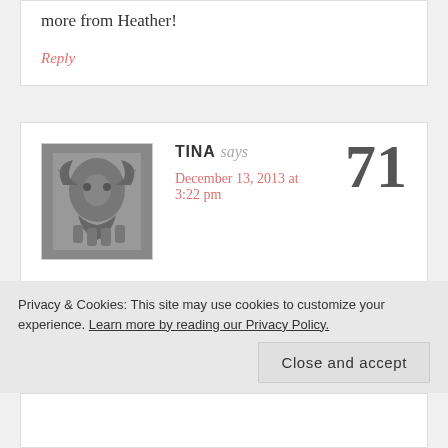more from Heather!
Reply
TINA says
December 13, 2013 at 3:22 pm
71
I've seen this book but haven't read it
Privacy & Cookies: This site may use cookies to customize your experience. Learn more by reading our Privacy Policy.
Close and accept